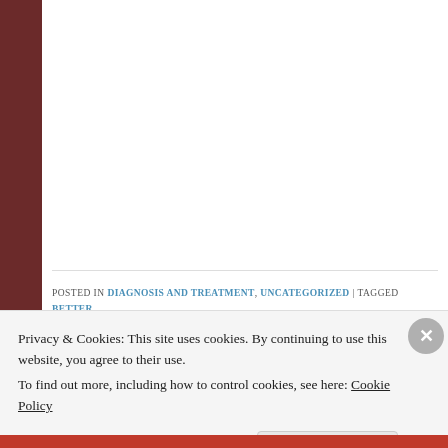POSTED IN DIAGNOSIS AND TREATMENT, UNCATEGORIZED | TAGGED BETTER DISEASE, HURTFUL HELPERS, IMPAIRED PROFESSIONALS, MEDICAL LICENSING, PATIENTS RIGHTS, PEOPLE WITH DISABILITIES, SELF-HELP, STRESS-REDUCTION, VERSUS FALSE ALLY
Privacy & Cookies: This site uses cookies. By continuing to use this website, you agree to their use. To find out more, including how to control cookies, see here: Cookie Policy